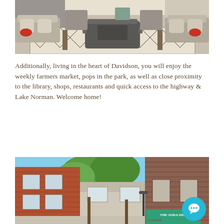[Figure (photo): Outdoor patio area with cushioned furniture, decorative pillows, a rectangular fire pit table, and a patterned area rug]
Additionally, living in the heart of Davidson, you will enjoy the weekly farmers market, pops in the park, as well as close proximity to the library, shops, restaurants and quick access to the highway & Lake Norman. Welcome home!
[Figure (photo): Street view of downtown Davidson showing brick buildings, a soda shop with Coca-Cola signage, trees, and a street lamp]